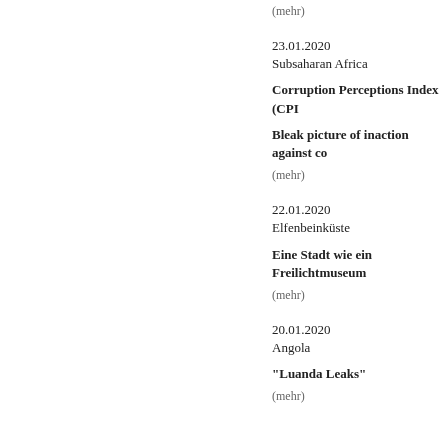(mehr)
23.01.2020
Subsaharan Africa
Corruption Perceptions Index (CPI
Bleak picture of inaction against co
(mehr)
22.01.2020
Elfenbeinküste
Eine Stadt wie ein Freilichtmuseum
(mehr)
20.01.2020
Angola
"Luanda Leaks"
(mehr)